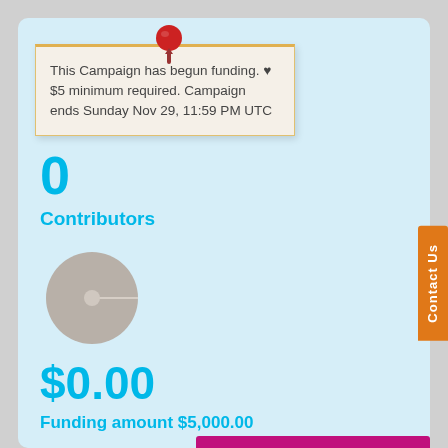This Campaign has begun funding. ♥ $5 minimum required. Campaign ends Sunday Nov 29, 11:59 PM UTC
0
Contributors
[Figure (pie-chart): Empty gray pie chart representing $0.00 of $5,000.00 funding goal]
$0.00
Funding amount $5,000.00
Hours to go
Sign Up to be a Premium Partner
Contact Us